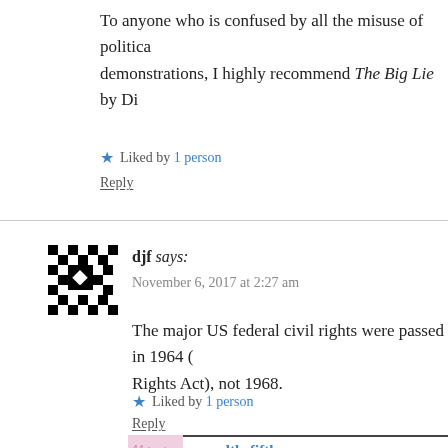To anyone who is confused by all the misuse of political demonstrations, I highly recommend The Big Lie by Di
★ Liked by 1 person
Reply
djf says:
November 6, 2017 at 2:27 am
The major US federal civil rights were passed in 1964 (Civil Rights Act), not 1968.
★ Liked by 1 person
Reply
samuelthefifth says:
November 6, 2017 at 4:45 am